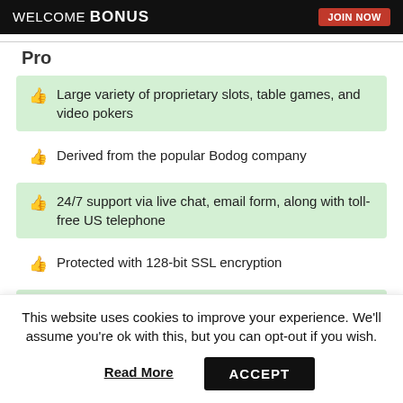[Figure (screenshot): Dark banner with 'WELCOME BONUS' text and a 'JOIN NOW' red button]
Pro
Large variety of proprietary slots, table games, and video pokers
Derived from the popular Bodog company
24/7 support via live chat, email form, along with toll-free US telephone
Protected with 128-bit SSL encryption
Generous bonuses
This website uses cookies to improve your experience. We'll assume you're ok with this, but you can opt-out if you wish.
Read More | ACCEPT